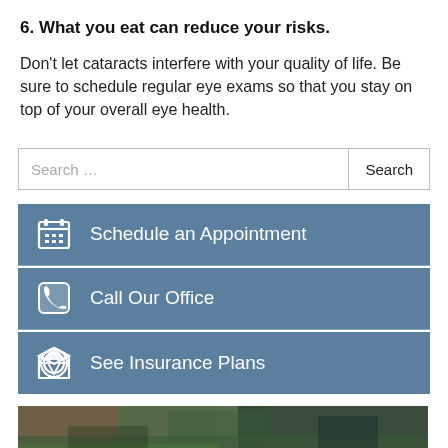6. What you eat can reduce your risks.
Don't let cataracts interfere with your quality of life. Be sure to schedule regular eye exams so that you stay on top of your overall eye health.
Search ...
Schedule an Appointment
Call Our Office
See Insurance Plans
[Figure (photo): Outdoor nature photo showing trees and grass]